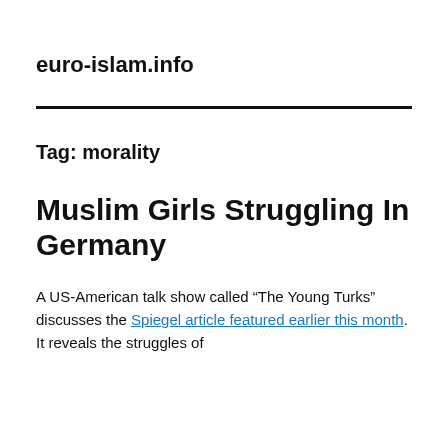euro-islam.info
Tag: morality
Muslim Girls Struggling In Germany
A US-American talk show called “The Young Turks” discusses the Spiegel article featured earlier this month. It reveals the struggles of